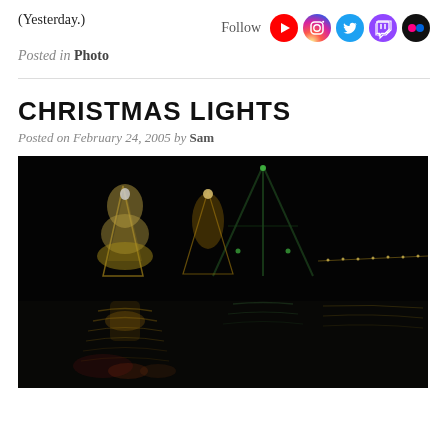(Yesterday.)
Follow
Posted in Photo
CHRISTMAS LIGHTS
Posted on February 24, 2005 by Sam
[Figure (photo): Night photograph of Christmas lights on boats or structures reflected on dark water, with glowing yellow and green lights forming triangular mast/crane shapes against a black sky]